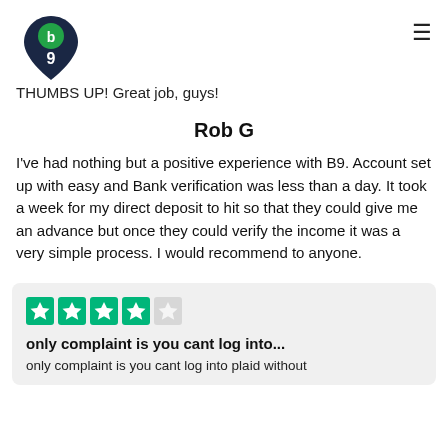[Figure (logo): B9 logo: dark navy teardrop/pin shape with a green circle containing letter b at top, number 9 below]
THUMBS UP! Great job, guys!
Rob G
I've had nothing but a positive experience with B9. Account set up with easy and Bank verification was less than a day. It took a week for my direct deposit to hit so that they could give me an advance but once they could verify the income it was a very simple process. I would recommend to anyone.
[Figure (other): Trustpilot-style 4-star rating widget with green filled stars (4 out of 5)]
only complaint is you cant log into...
only complaint is you cant log into plaid without